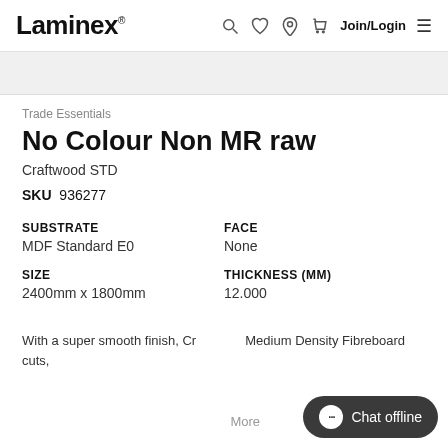Laminex — Join/Login
[Figure (other): Gray product image placeholder area]
Trade Essentials
No Colour Non MR raw
Craftwood STD
SKU  936277
| SUBSTRATE | FACE |
| --- | --- |
| MDF Standard E0 | None |
| SIZE | THICKNESS (MM) |
| --- | --- |
| 2400mm x 1800mm | 12.000 |
With a super smooth finish, Cr… Medium Density Fibreboard cuts,